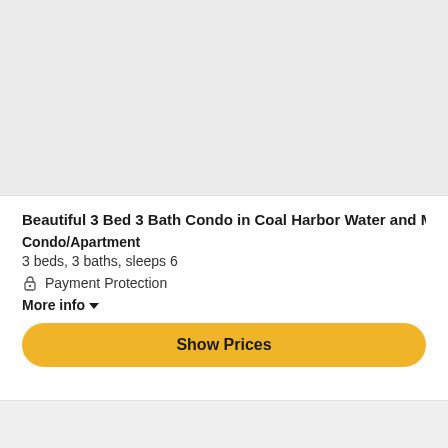[Figure (photo): Top area showing a light gray placeholder for a property photo]
Beautiful 3 Bed 3 Bath Condo in Coal Harbor Water and Moun...
Condo/Apartment
3 beds, 3 baths, sleeps 6
Payment Protection
More info
Show Prices